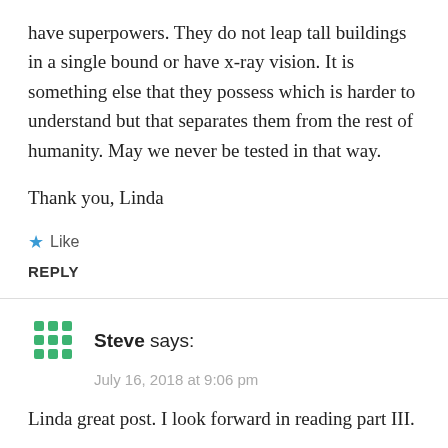have superpowers. They do not leap tall buildings in a single bound or have x-ray vision. It is something else that they possess which is harder to understand but that separates them from the rest of humanity. May we never be tested in that way.
Thank you, Linda
★ Like
REPLY
Steve says:
July 16, 2018 at 9:06 pm
Linda great post. I look forward in reading part III.
Gary – to your point(s), in light of today's Trump/Putin summit or should I say Putin with his